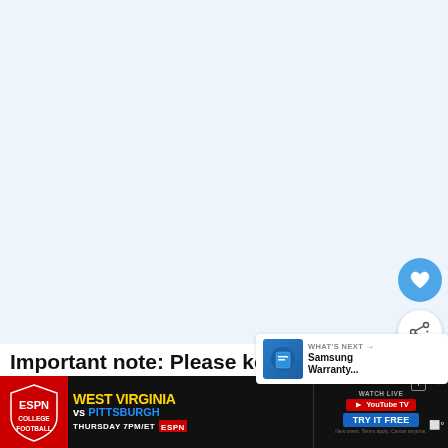[Figure (screenshot): Light blue/white empty content area placeholder]
[Figure (other): Blue circular heart/favorite FAB button and white circular share FAB button on right side]
[Figure (other): WHAT'S NEXT overlay card showing Samsung Warranty... with thumbnail]
Important note: Please keep in mind tha depending on the country, some menus may not be available.
[Figure (screenshot): ESPN College Football banner ad: WEST VIRGINIA vs PITTSBURGH THURSDAY 7PM/ET ESPN, with YouTube TV Watch Live / Try It Free ad on right]